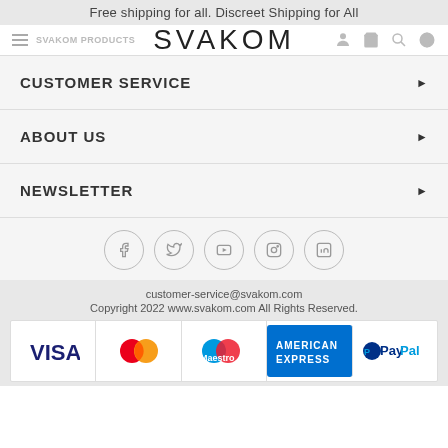Free shipping for all. Discreet Shipping for All
[Figure (logo): SVAKOM brand navigation bar with logo, hamburger menu, and icons for account, cart, search, globe]
CUSTOMER SERVICE
ABOUT US
NEWSLETTER
[Figure (infographic): Social media icons in circles: Facebook, Twitter, YouTube, Instagram, LinkedIn]
customer-service@svakom.com
Copyright 2022 www.svakom.com All Rights Reserved.
[Figure (infographic): Payment method logos: VISA, Mastercard, Maestro, American Express, PayPal]